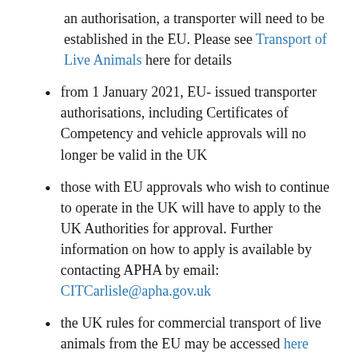an authorisation, a transporter will need to be established in the EU. Please see Transport of Live Animals here for details
from 1 January 2021, EU- issued transporter authorisations, including Certificates of Competency and vehicle approvals will no longer be valid in the UK
those with EU approvals who wish to continue to operate in the UK will have to apply to the UK Authorities for approval. Further information on how to apply is available by contacting APHA by email: CITCarlisle@apha.gov.uk
the UK rules for commercial transport of live animals from the EU may be accessed here
EU-issued transporter authorisations, Certificates